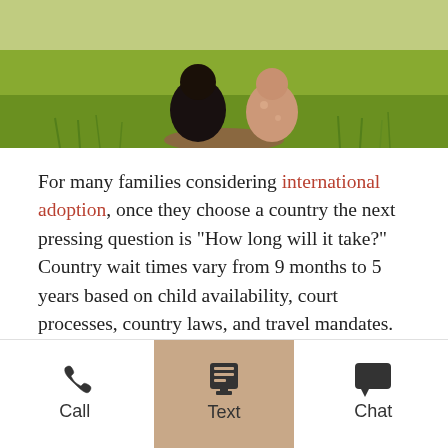[Figure (photo): Outdoor photo showing two figures (children or people) sitting in a green rice field or meadow, viewed from behind.]
For many families considering international adoption, once they choose a country the next pressing question is “How long will it take?” Country wait times vary from 9 months to 5 years based on child availability, court processes, country laws, and travel mandates. For Vietnam, there are several elements to consider.
The history of adoption from Vietnam to the United States has a long past. It began in the 1970s, during the Vietnam War, and proceeded with stops and starts until 2008 when the Memorandum of Understanding expired between the two countries, halting all inter-
Call | Text | Chat